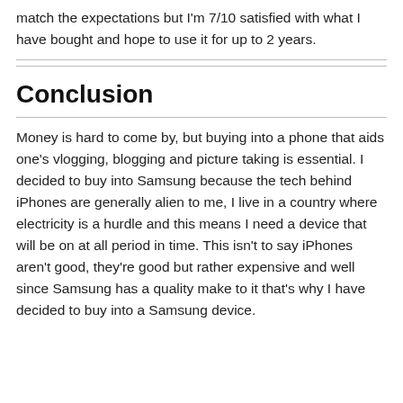match the expectations but I'm 7/10 satisfied with what I have bought and hope to use it for up to 2 years.
Conclusion
Money is hard to come by, but buying into a phone that aids one's vlogging, blogging and picture taking is essential. I decided to buy into Samsung because the tech behind iPhones are generally alien to me, I live in a country where electricity is a hurdle and this means I need a device that will be on at all period in time. This isn't to say iPhones aren't good, they're good but rather expensive and well since Samsung has a quality make to it that's why I have decided to buy into a Samsung device.